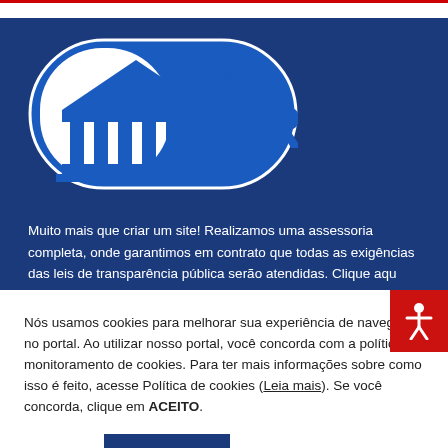[Figure (logo): CR2 logo — white building/temple icon and 'CR2' text inside a blue pill-shaped badge on dark blue background]
Muito mais que criar um site! Realizamos uma assessoria completa, onde garantimos em contrato que todas as exigências das leis de transparência pública serão atendidas. Clique aqu
Nós usamos cookies para melhorar sua experiência de navegação no portal. Ao utilizar nosso portal, você concorda com a política de monitoramento de cookies. Para ter mais informações sobre como isso é feito, acesse Política de cookies (Leia mais). Se você concorda, clique em ACEITO.
Leia mais
ACEITO